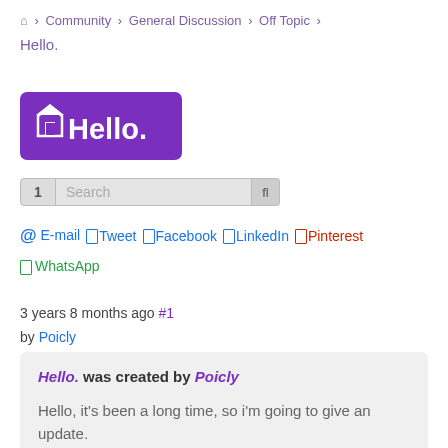Community > General Discussion > Off Topic > Hello.
[Figure (logo): Purple rounded rectangle logo with white house/document icon and text 'Hello.']
1  Search  fl
@ E-mail  Tweet  Facebook  LinkedIn  Pinterest
WhatsApp
3 years 8 months ago #1
by Poicly
Hello. was created by Poicly

Hello, it's been a long time, so i'm going to give an update.